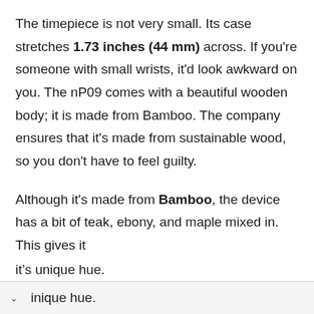The timepiece is not very small. Its case stretches 1.73 inches (44 mm) across. If you're someone with small wrists, it'd look awkward on you. The nP09 comes with a beautiful wooden body; it is made from Bamboo. The company ensures that it's made from sustainable wood, so you don't have to feel guilty.
Although it's made from Bamboo, the device has a bit of teak, ebony, and maple mixed in. This gives it its unique hue.